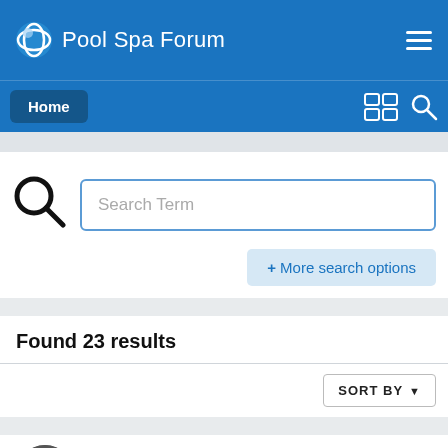Pool Spa Forum
Home
Search Term
+ More search options
Found 23 results
SORT BY